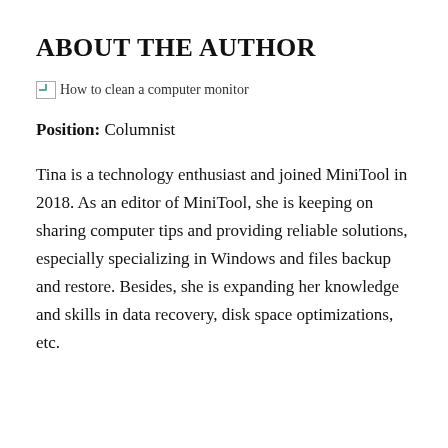ABOUT THE AUTHOR
[Figure (photo): Broken image placeholder with alt text: How to clean a computer monitor]
Position: Columnist
Tina is a technology enthusiast and joined MiniTool in 2018. As an editor of MiniTool, she is keeping on sharing computer tips and providing reliable solutions, especially specializing in Windows and files backup and restore. Besides, she is expanding her knowledge and skills in data recovery, disk space optimizations, etc.